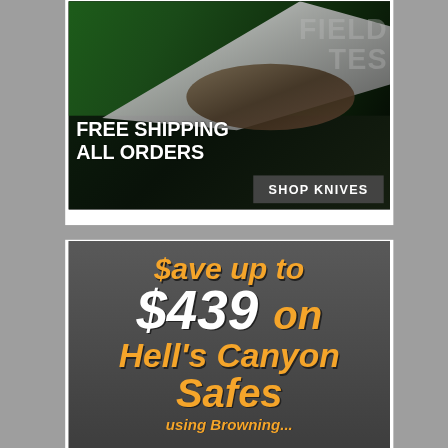[Figure (photo): Advertisement for knife shop: dark background with a tactical folding knife (green and silver), text 'FREE SHIPPING ALL ORDERS' and a 'SHOP KNIVES' button. Partial text 'FIELD NOTES' visible on right.]
[Figure (infographic): Advertisement for Hell's Canyon Safes: dark gray background with large orange and white italic text reading '$ave up to $439 on Hell's Canyon Safes' with partial text 'using Browning...' at bottom.]